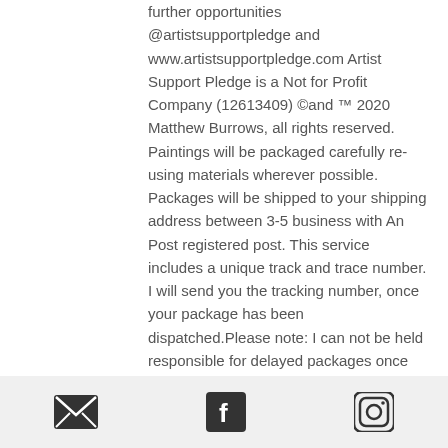further opportunities @artistsupportpledge and www.artistsupportpledge.com Artist Support Pledge is a Not for Profit Company (12613409) ©and ™ 2020 Matthew Burrows, all rights reserved. Paintings will be packaged carefully re-using materials wherever possible. Packages will be shipped to your shipping address between 3-5 business with An Post registered post. This service includes a unique track and trace number. I will send you the tracking number, once your package has been dispatched.Please note: I can not be held responsible for delayed packages once they are shipped, or be
[Figure (other): Footer bar with three social media icons: email (envelope), Facebook (f logo), and Instagram (camera logo)]